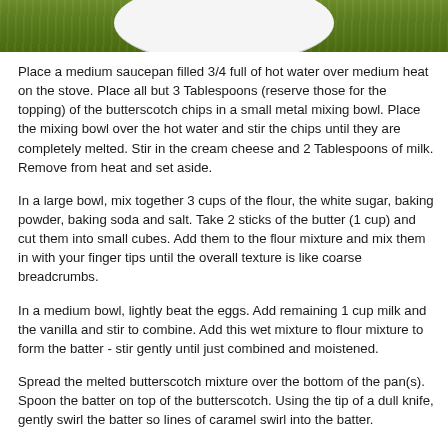[Figure (photo): Top portion of a green textured background (leaves or fabric) with a white plate visible at the top edge]
Place a medium saucepan filled 3/4 full of hot water over medium heat on the stove. Place all but 3 Tablespoons (reserve those for the topping) of the butterscotch chips in a small metal mixing bowl. Place the mixing bowl over the hot water and stir the chips until they are completely melted. Stir in the cream cheese and 2 Tablespoons of milk. Remove from heat and set aside.
In a large bowl, mix together 3 cups of the flour, the white sugar, baking powder, baking soda and salt. Take 2 sticks of the butter (1 cup) and cut them into small cubes. Add them to the flour mixture and mix them in with your finger tips until the overall texture is like coarse breadcrumbs.
In a medium bowl, lightly beat the eggs. Add remaining 1 cup milk and the vanilla and stir to combine. Add this wet mixture to flour mixture to form the batter - stir gently until just combined and moistened.
Spread the melted butterscotch mixture over the bottom of the pan(s). Spoon the batter on top of the butterscotch. Using the tip of a dull knife, gently swirl the batter so lines of caramel swirl into the batter.